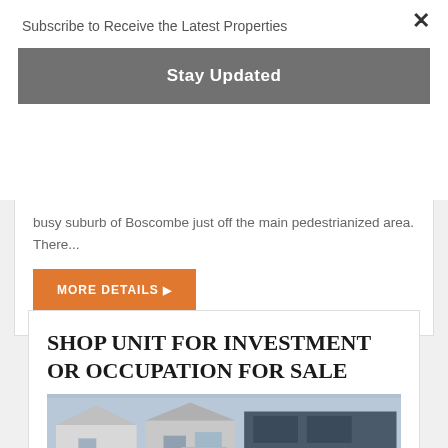Subscribe to Receive the Latest Properties
Stay Updated
busy suburb of Boscombe just off the main pedestrianized area. There...
MORE DETAILS ▶
SHOP UNIT FOR INVESTMENT OR OCCUPATION FOR SALE
[Figure (photo): Exterior photo of residential/commercial buildings with for-sale sign]